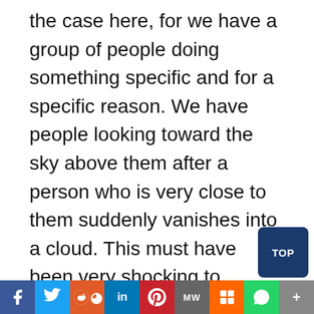the case here, for we have a group of people doing something specific and for a specific reason. We have people looking toward the sky above them after a person who is very close to them suddenly vanishes into a cloud. This must have been very shocking to witness, thus it is no wonder that they would have been staring into the sky where Jesus had just vanished into a cloud. To those who witnessed the ascension, it was certainly a very dramatic and personal event, one which must have left a very powerful and personal impression upon their minds and eyes. This was an experience that they w feeling very strongly and were intimately